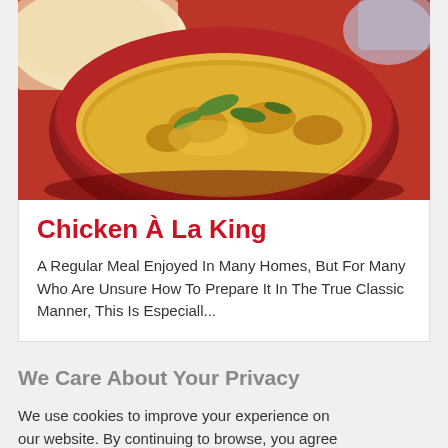[Figure (photo): A red ceramic bowl filled with Chicken À La King — creamy yellow sauce with chicken pieces and green vegetables, with rice visible in the background on a red cloth.]
Chicken À La King
A Regular Meal Enjoyed In Many Homes, But For Many Who Are Unsure How To Prepare It In The True Classic Manner, This Is Especiall...
We Care About Your Privacy
We use cookies to improve your experience on our website. By continuing to browse, you agree to the use of cookies on our website. To find out more see our cookie policy.